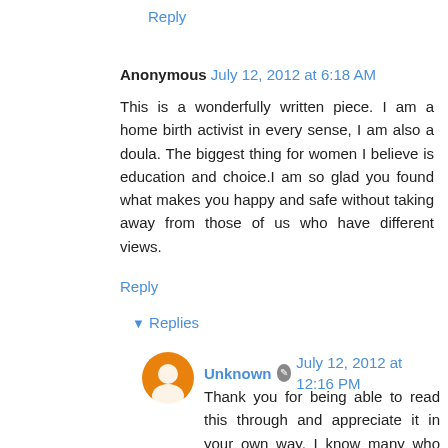Reply
Anonymous  July 12, 2012 at 6:18 AM
This is a wonderfully written piece. I am a home birth activist in every sense, I am also a doula. The biggest thing for women I believe is education and choice.I am so glad you found what makes you happy and safe without taking away from those of us who have different views.
Reply
▾ Replies
Unknown  July 12, 2012 at 12:16 PM
Thank you for being able to read this through and appreciate it in your own way. I know many who are activists will turn away the second the notice the way in which the piece is going... which is sad but typical. I think it speaks volumes of the type of home birth advocate (and especially, activist) who is able to read things